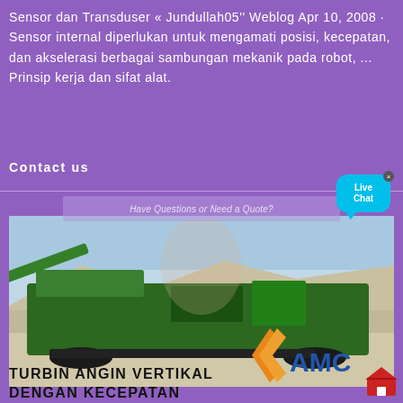Sensor dan Transduser « Jundullah05'' Weblog Apr 10, 2008 · Sensor internal diperlukan untuk mengamati posisi, kecepatan, dan akselerasi berbagai sambungan mekanik pada robot, ... Prinsip kerja dan sifat alat.
Contact us
[Figure (photo): A large green mobile crushing/screening machine (industrial equipment) on a gravel/quarry site with mountains and sky in the background. The AMC logo (orange chevron with blue AMC text) is overlaid in the lower right of the image. A faint face overlay and a contact form element are also visible.]
TURBIN ANGIN VERTIKAL DENGAN KECEPATAN